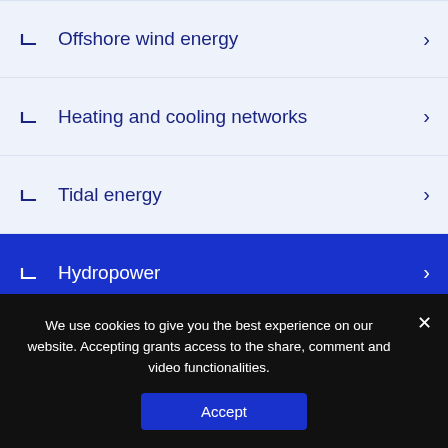Offshore wind energy
Heating and cooling networks
Tidal energy
Hydropower
Wave energy
Blue Energy
Ocean Thermal Energy
We use cookies to give you the best experience on our website. Accepting grants access to the share, comment and video functionalities.